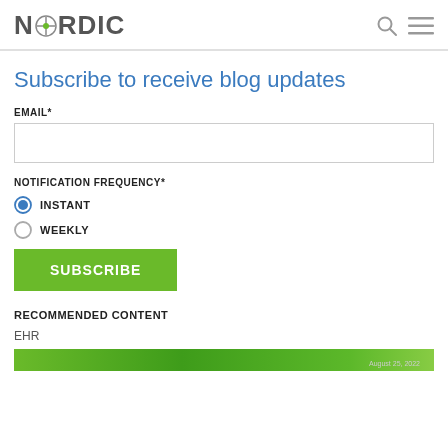NORDIC
Subscribe to receive blog updates
EMAIL*
NOTIFICATION FREQUENCY*
INSTANT
WEEKLY
SUBSCRIBE
RECOMMENDED CONTENT
EHR
[Figure (photo): Green banner image strip with date August 25, 2022]